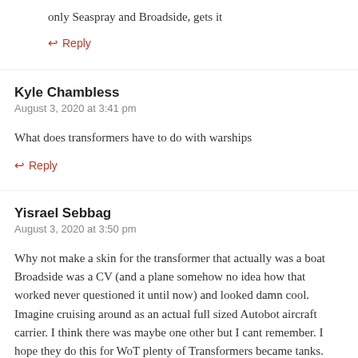only Seaspray and Broadside, gets it
↩ Reply
Kyle Chambless
August 3, 2020 at 3:41 pm
What does transformers have to do with warships
↩ Reply
Yisrael Sebbag
August 3, 2020 at 3:50 pm
Why not make a skin for the transformer that actually was a boat Broadside was a CV (and a plane somehow no idea how that worked never questioned it until now) and looked damn cool. Imagine cruising around as an actual full sized Autobot aircraft carrier. I think there was maybe one other but I cant remember. I hope they do this for WoT plenty of Transformers became tanks.